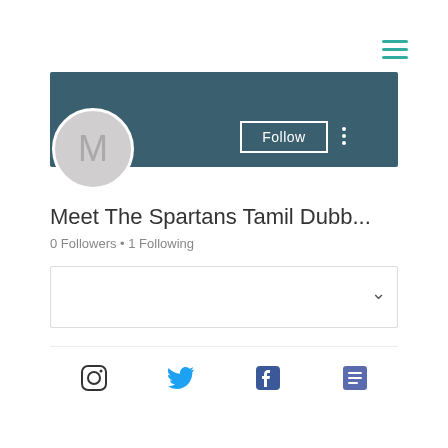[Figure (screenshot): Hamburger menu icon with three teal horizontal lines in top-right corner]
[Figure (screenshot): Dark teal cover banner rectangle for user profile]
[Figure (screenshot): Circular avatar with letter M on grey background, Follow button with white border, three-dot more options menu]
Meet The Spartans Tamil Dubb...
0 Followers • 1 Following
[Figure (screenshot): Dropdown/filter box with chevron arrow pointing down]
[Figure (screenshot): Social media icon bar showing Instagram, Twitter, Facebook, and list/blog icons]